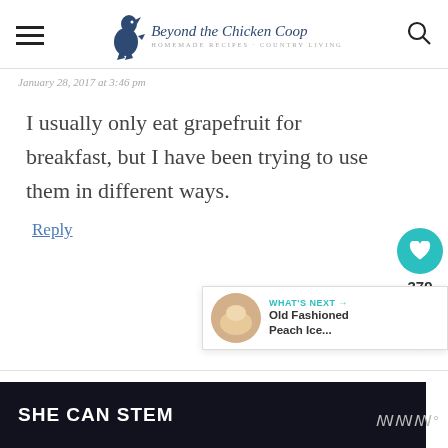Beyond the Chicken Coop — HOMEMADE RECIPES · COUNTRY LIVING
January 28, 2017 at 3:46 pm
I usually only eat grapefruit for breakfast, but I have been trying to use them in different ways.
Reply
379
WHAT'S NEXT → Old Fashioned Peach Ice...
SHE CAN STEM